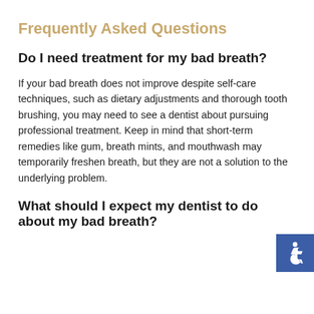Frequently Asked Questions
Do I need treatment for my bad breath?
If your bad breath does not improve despite self-care techniques, such as dietary adjustments and thorough tooth brushing, you may need to see a dentist about pursuing professional treatment. Keep in mind that short-term remedies like gum, breath mints, and mouthwash may temporarily freshen breath, but they are not a solution to the underlying problem.
What should I expect my dentist to do about my bad breath?